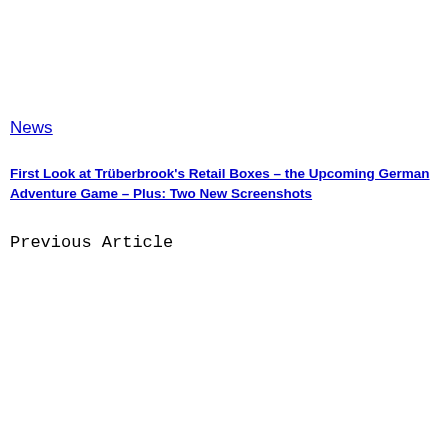News
First Look at Trüberbrook's Retail Boxes – the Upcoming German Adventure Game – Plus: Two New Screenshots
Previous Article